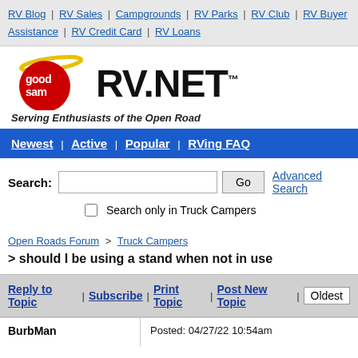RV Blog | RV Sales | Campgrounds | RV Parks | RV Club | RV Buyer Assistance | RV Credit Card | RV Loans
[Figure (logo): Good Sam RV.NET logo with tagline 'Serving Enthusiasts of the Open Road']
Newest | Active | Popular | RVing FAQ
Search: [input] Go  Advanced Search  [ ] Search only in Truck Campers
Open Roads Forum > Truck Campers
> should I be using a stand when not in use
Reply to Topic | Subscribe | Print Topic | Post New Topic | Oldest
| Author | Posted |
| --- | --- |
| BurbMan | Posted: 04/27/22 10:54am |